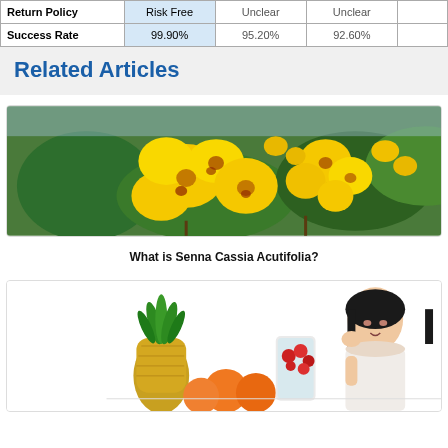|  | Risk Free | Unclear | Unclear |  |
| --- | --- | --- | --- | --- |
| Return Policy | Risk Free | Unclear | Unclear |  |
| Success Rate | 99.90% | 95.20% | 92.60% |  |
Related Articles
[Figure (photo): Close-up photo of yellow Senna Cassia Acutifolia flowers with green leaves in background]
What is Senna Cassia Acutifolia?
[Figure (photo): Photo of a young Asian woman with fruits and a blender with berries, pineapple, oranges on a white background]